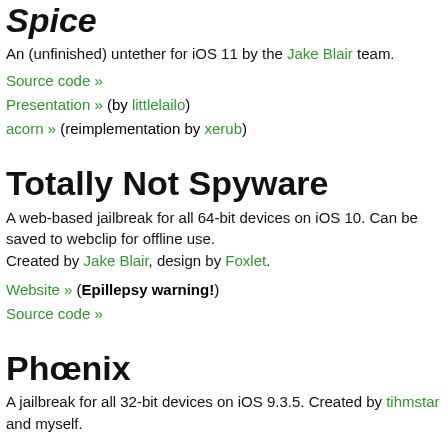Spice
An (unfinished) untether for iOS 11 by the Jake Blair team.
Source code »
Presentation » (by littlelailo)
acorn » (reimplementation by xerub)
Totally Not Spyware
A web-based jailbreak for all 64-bit devices on iOS 10. Can be saved to webclip for offline use. Created by Jake Blair, design by Foxlet.
Website » (Epillepsy warning!)
Source code »
Phœnix
A jailbreak for all 32-bit devices on iOS 9.3.5. Created by tihmstar and myself.